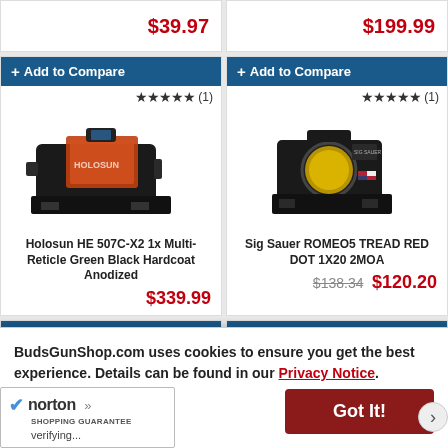$39.97
$199.99
+ Add to Compare
[Figure (photo): Holosun HE 507C-X2 red dot sight, black, with orange/red lens, shown at angle]
Holosun HE 507C-X2 1x Multi-Reticle Green Black Hardcoat Anodized
$339.99
+ Add to Compare
[Figure (photo): Sig Sauer ROMEO5 TREAD red dot sight, black compact, with yellow lens]
Sig Sauer ROMEO5 TREAD RED DOT 1X20 2MOA
$138.34  $120.20
+ Add to Compare
+ Add to Compare
BudsGunShop.com uses cookies to ensure you get the best experience. Details can be found in our Privacy Notice.
Got It!